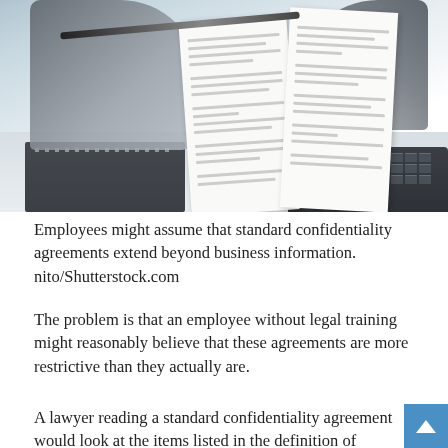[Figure (photo): A person in business attire holding a multi-page document (contract or confidentiality agreement) with both hands, with a pen, notebook, and keyboard visible on the desk below.]
Employees might assume that standard confidentiality agreements extend beyond business information. nito/Shutterstock.com
The problem is that an employee without legal training might reasonably believe that these agreements are more restrictive than they actually are.
A lawyer reading a standard confidentiality agreement would look at the items listed in the definition of “confidential